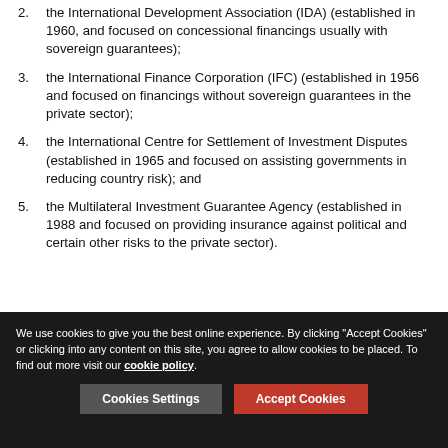2. the International Development Association (IDA) (established in 1960, and focused on concessional financings usually with sovereign guarantees);
3. the International Finance Corporation (IFC) (established in 1956 and focused on financings without sovereign guarantees in the private sector);
4. the International Centre for Settlement of Investment Disputes (established in 1965 and focused on assisting governments in reducing country risk); and
5. the Multilateral Investment Guarantee Agency (established in 1988 and focused on providing insurance against political and certain other risks to the private sector).
We use cookies to give you the best online experience. By clicking "Accept Cookies" or clicking into any content on this site, you agree to allow cookies to be placed. To find out more visit our cookie policy.